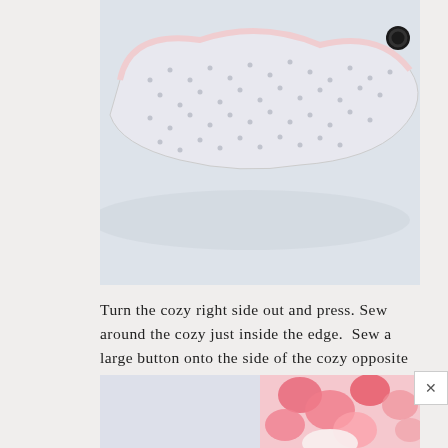[Figure (photo): Photo of a white dotted fabric eye mask/cozy with a black elastic loop, on a light blue-white background]
Turn the cozy right side out and press. Sew around the cozy just inside the edge.  Sew a large button onto the side of the cozy opposite the elastic. Using an awesome vintage button is optional but highly preferred. :)
[Figure (photo): Partial photo of pink roses/flowers on a light background]